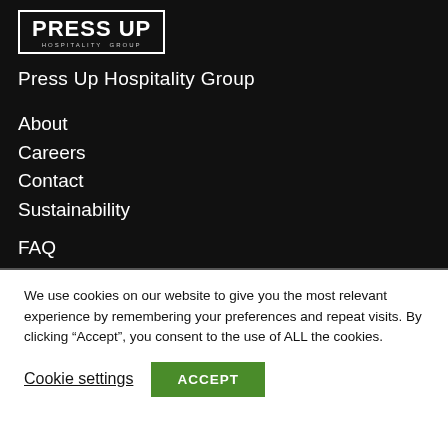[Figure (logo): Press Up Hospitality Group logo — white text in bordered box on black background]
Press Up Hospitality Group
About
Careers
Contact
Sustainability
FAQ
Corporate & Group Travel
We use cookies on our website to give you the most relevant experience by remembering your preferences and repeat visits. By clicking “Accept”, you consent to the use of ALL the cookies.
Cookie settings
ACCEPT